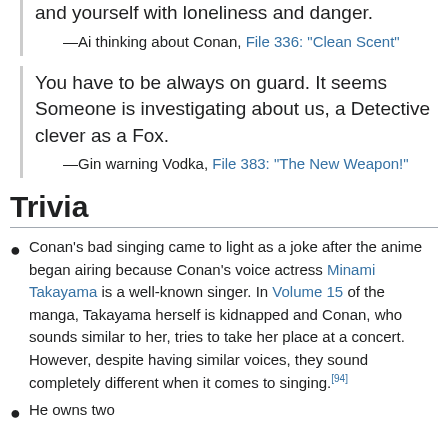and yourself with loneliness and danger. —Ai thinking about Conan, File 336: "Clean Scent"
You have to be always on guard. It seems Someone is investigating about us, a Detective clever as a Fox. —Gin warning Vodka, File 383: "The New Weapon!"
Trivia
Conan's bad singing came to light as a joke after the anime began airing because Conan's voice actress Minami Takayama is a well-known singer. In Volume 15 of the manga, Takayama herself is kidnapped and Conan, who sounds similar to her, tries to take her place at a concert. However, despite having similar voices, they sound completely different when it comes to singing.[94]
He owns two